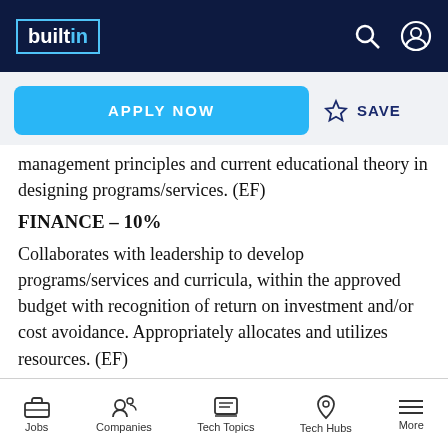builtin [logo navigation bar with search and account icons]
APPLY NOW  ☆ SAVE
management principles and current educational theory in designing programs/services. (EF)
FINANCE – 10%
Collaborates with leadership to develop programs/services and curricula, within the approved budget with recognition of return on investment and/or cost avoidance. Appropriately allocates and utilizes resources. (EF)
Role models and drives time and resources
Jobs  Companies  Tech Topics  Tech Hubs  More